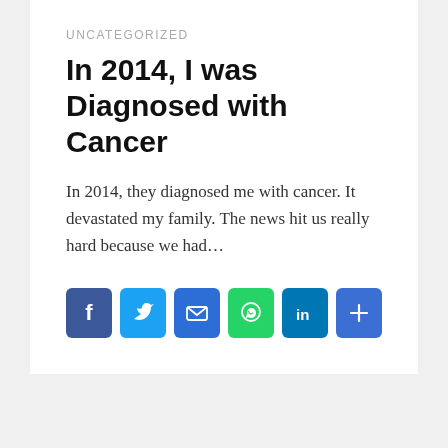UNCATEGORIZED
In 2014, I was Diagnosed with Cancer
In 2014, they diagnosed me with cancer. It devastated my family. The news hit us really hard because we had…
[Figure (infographic): Row of social sharing buttons: Facebook (blue), Twitter (light blue), Email (blue), WhatsApp (green), LinkedIn (blue), More/Share (blue)]
Leave a Reply
Your email address will not be published. Required fields